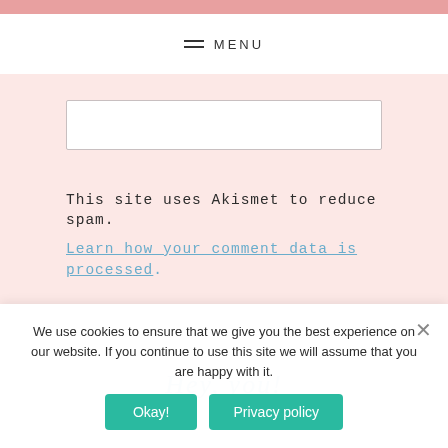≡ MENU
This site uses Akismet to reduce spam. Learn how your comment data is processed.
Hey, you!
We use cookies to ensure that we give you the best experience on our website. If you continue to use this site we will assume that you are happy with it.